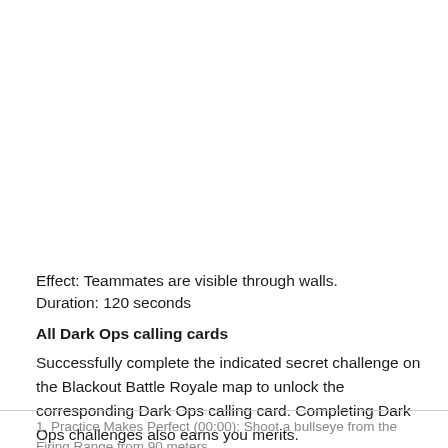Effect: Teammates are visible through walls.
Duration: 120 seconds
All Dark Ops calling cards
Successfully complete the indicated secret challenge on the Blackout Battle Royale map to unlock the corresponding Dark Ops calling card. Completing Dark Ops challenges also earns you merits.
1. Practice Makes Perfect (00:00): Shoot a bullseye from the Firing Range from 90 meters.